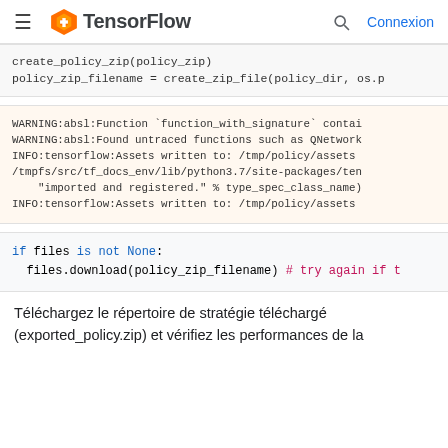TensorFlow — Connexion
create_policy_zip(policy_zip)
policy_zip_filename = create_zip_file(policy_dir, os.p
WARNING:absl:Function `function_with_signature` contai
WARNING:absl:Found untraced functions such as QNetwork
INFO:tensorflow:Assets written to: /tmp/policy/assets
/tmpfs/src/tf_docs_env/lib/python3.7/site-packages/ten
    "imported and registered." % type_spec_class_name)
INFO:tensorflow:Assets written to: /tmp/policy/assets
if files is not None:
  files.download(policy_zip_filename) # try again if t
Téléchargez le répertoire de stratégie téléchargé (exported_policy.zip) et vérifiez les performances de la